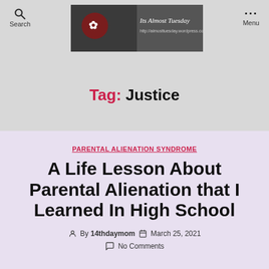Search | Its Almost Tuesday blog logo | Menu
Tag: Justice
PARENTAL ALIENATION SYNDROME
A Life Lesson About Parental Alienation that I Learned In High School
By 14thdaymom   March 25, 2021
No Comments